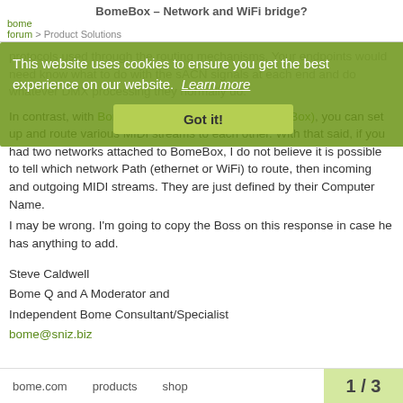BomeBox – Network and WiFi bridge?
bome
forum > Product Solutions
This website uses cookies to ensure you get the best experience on our website. Learn more
Got it!
protocols used through the routing mechanisms. Your endpoints would need know what to do with the sACN signals at each end and do whatever DMX processing they normally do.
In contrast, with Bome Network (supported by BomeBox), you can set up and route various MIDI streams to each other. With that said, if you had two networks attached to BomeBox, I do not believe it is possible to tell which network Path (ethernet or WiFi) to route, then incoming and outgoing MIDI streams. They are just defined by their Computer Name.
I may be wrong. I'm going to copy the Boss on this response in case he has anything to add.
Steve Caldwell
Bome Q and A Moderator and
Independent Bome Consultant/Specialist
bome@sniz.biz
bome.com   products   shop   1 / 3